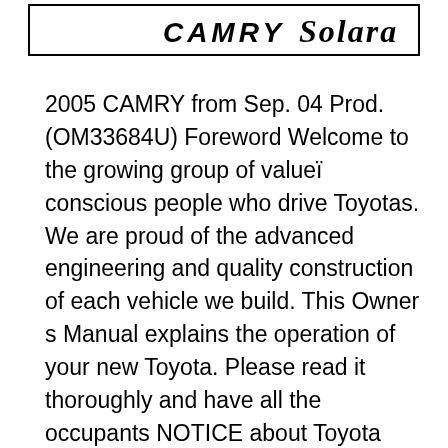[Figure (logo): Toyota Camry Solara logo rendered in bold italic text inside a rectangular border]
2005 CAMRY from Sep. 04 Prod. (OM33684U) Foreword Welcome to the growing group of valueï conscious people who drive Toyotas. We are proud of the advanced engineering and quality construction of each vehicle we build. This Owner s Manual explains the operation of your new Toyota. Please read it thoroughly and have all the occupants NOTICE about Toyota Camry Owners Manual 2005 PDF download. Sometimes due server overload owners manual could not be loaded. Try to refresh or download newest Adobe Flash plugin for desktop or Flash Player for